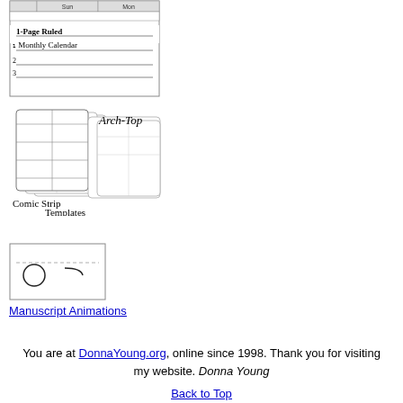[Figure (illustration): Thumbnail of 1-Page Ruled Monthly Calendar template showing a small calendar grid at top and ruled lines below numbered 1, 2, 3]
[Figure (illustration): Arch-Top Comic Strip Templates promotional image showing stacked pages of comic strip panel templates with text 'Arch-Top', 'Comic Strip Templates', and 'DonnaYoung.org > Art > Comic']
[Figure (illustration): Thumbnail image for Manuscript Animations showing a bordered box with a dashed line, a circle and curved line suggesting handwriting animation]
Manuscript Animations
You are at DonnaYoung.org, online since 1998. Thank you for visiting my website. Donna Young
Back to Top